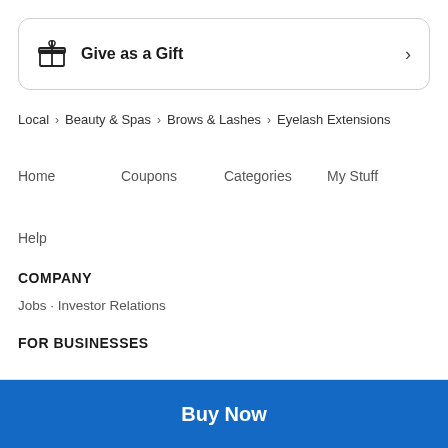Give as a Gift
Local > Beauty & Spas > Brows & Lashes > Eyelash Extensions
Home   Coupons   Categories   My Stuff
Help
COMPANY
Jobs · Investor Relations
FOR BUSINESSES
Buy Now